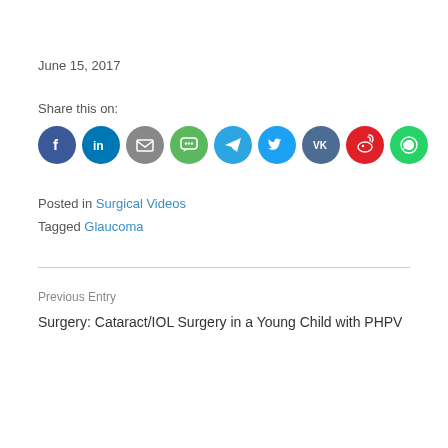June 15, 2017
Share this on:
[Figure (illustration): Row of social media sharing icon circles: Facebook (dark blue), LinkedIn (dark blue), Email (gray), SMS/Chat (green), Telegram (blue), Twitter (light blue), VK (dark blue-gray), Weibo (red), WhatsApp (green)]
Posted in Surgical Videos
Tagged Glaucoma
Previous Entry
Surgery: Cataract/IOL Surgery in a Young Child with PHPV